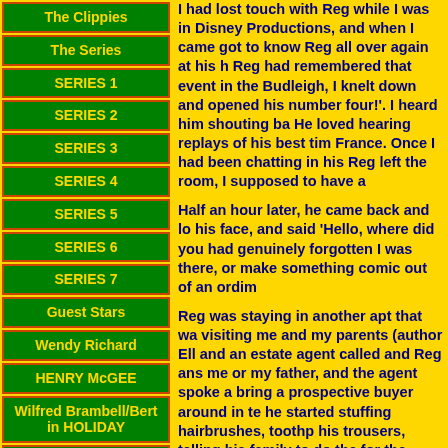The Clippies
The Series
SERIES 1
SERIES 2
SERIES 3
SERIES 4
SERIES 5
SERIES 6
SERIES 7
Guest Stars
Wendy Richard
HENRY McGEE
Wilfred Brambell/Bert in HOLIDAY
Michael Sheard depot manager
I had lost touch with Reg while I was in Disney Productions, and when I came got to know Reg all over again at his h Reg had remembered that event in the Budleigh, I knelt down and opened his number four!'. I heard him shouting ba He loved hearing replays of his best ti France. Once I had been chatting in hi Reg left the room, I supposed to have a
Half an hour later, he came back and lo his face, and said 'Hello, where did yo had genuinely forgotten I was there, or make something comic out of an ordim
Reg was staying in another apt that wa visiting me and my parents (author Ell and an estate agent called and Reg an me or my father, and the agent spoke a bring a prospective buyer around in te he started stuffing hairbrushes, toothp his trousers, telling his family to do th for the agent. His description over din of the restaurant staff - who didn't eve the table.
Reg was not really a comedian, he was